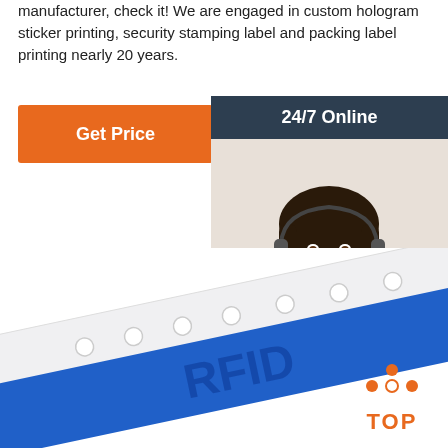manufacturer, check it! We are engaged in custom hologram sticker printing, security stamping label and packing label printing nearly 20 years.
[Figure (other): Orange 'Get Price' button]
[Figure (other): Customer service chat panel with '24/7 Online' header, photo of a woman with headset, 'Click here for free chat!' text, and orange 'QUOTATION' button on dark background]
[Figure (photo): Blue and white RFID wristband product photo with holes along the top edge, partially cropped at bottom of page. Orange 'TOP' badge with dot arrow icon in bottom right.]